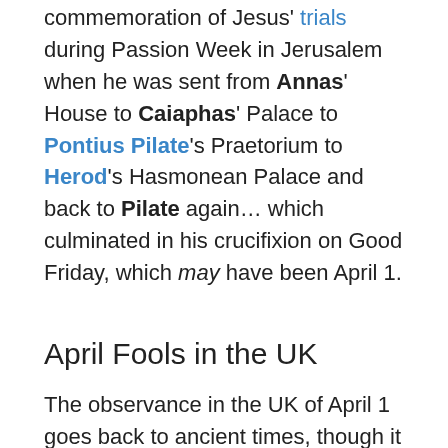commemoration of Jesus' trials during Passion Week in Jerusalem when he was sent from Annas' House to Caiaphas' Palace to Pontius Pilate's Praetorium to Herod's Hasmonean Palace and back to Pilate again… which culminated in his crucifixion on Good Friday, which may have been April 1.
April Fools in the UK
The observance in the UK of April 1 goes back to ancient times, though it did not appear as a common custom until the early 1700s. In